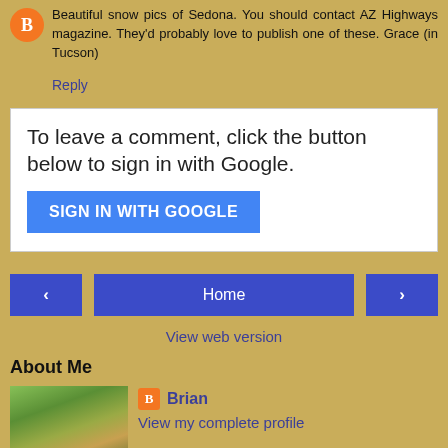Beautiful snow pics of Sedona. You should contact AZ Highways magazine. They'd probably love to publish one of these. Grace (in Tucson)
Reply
To leave a comment, click the button below to sign in with Google.
SIGN IN WITH GOOGLE
Home
View web version
About Me
Brian
View my complete profile